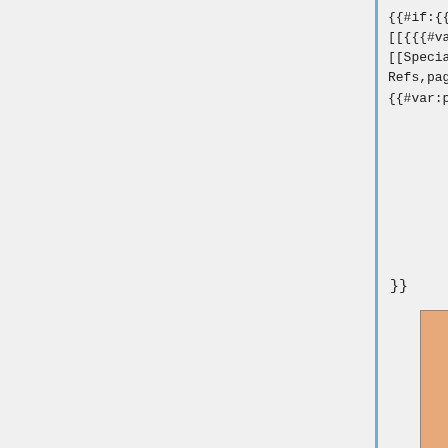{{#if:{{#var:refs}}|  [[Spec
[[{{{#var:page}}}|no_ref's]]]  copy,cat=R
[[Special:Call/DT Article show  {{#var:page}},namesp
Refs,page=  [[Special:C
{{#var:page}},refs=yes|ref's]]}}}  XML,type=
{{#var:page}},nar
}}
| {{#if:|Feature Test |Feature Test }} | Requesting UserInfo Claims with claims Request Parameter |
| --- | --- |
| Test Type | bgcolor={{{color}}}}}|normal |
| Identifier | bgcolor={{{color}}}}}|FTR-rp-reqobj |
| Description | bgcolor={{{color}}}}}|Request |